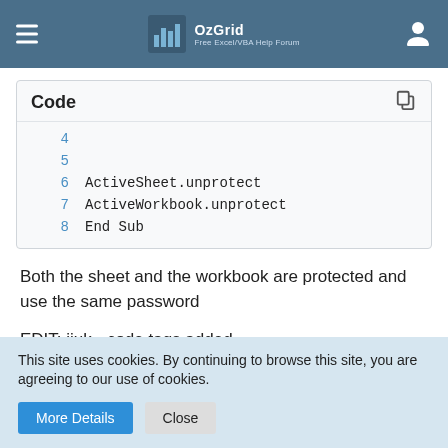OzGrid Free Excel/VBA Help Forum
[Figure (screenshot): Code block showing VBA lines 4-8: ActiveSheet.unprotect, ActiveWorkbook.unprotect, End Sub]
Both the sheet and the workbook are protected and use the same password
EDIT: jiuk - code tags added
This site uses cookies. By continuing to browse this site, you are agreeing to our use of cookies.